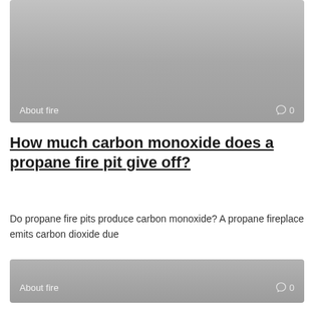[Figure (photo): Gray gradient image placeholder with 'About fire' tag and comment icon showing 0 at bottom]
How much carbon monoxide does a propane fire pit give off?
Do propane fire pits produce carbon monoxide? A propane fireplace emits carbon dioxide due
[Figure (photo): Gray gradient image placeholder with 'About fire' tag and comment icon showing 0 at bottom]
Can you burn wood that has polyurethane?
You are better off sanding off the poly coat before you start wood burning.